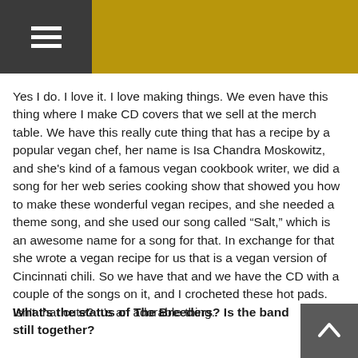[Header bar with menu button]
Yes I do. I love it. I love making things. We even have this thing where I make CD covers that we sell at the merch table. We have this really cute thing that has a recipe by a popular vegan chef, her name is Isa Chandra Moskowitz, and she's kind of a famous vegan cookbook writer, we did a song for her web series cooking show that showed you how to make these wonderful vegan recipes, and she needed a theme song, and she used our song called “Salt,” which is an awesome name for a song for that. In exchange for that she wrote a vegan recipe for us that is a vegan version of Cincinnati chili. So we have that and we have the CD with a couple of the songs on it, and I crocheted these hot pads. Isn’t that cute? It’s an adorable thing.
What’s the status of The Breeders? Is the band still together?